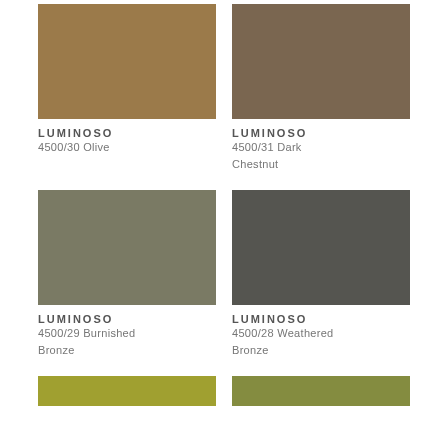[Figure (illustration): Color swatch for LUMINOSO 4500/30 Olive – warm medium brown]
LUMINOSO
4500/30 Olive
[Figure (illustration): Color swatch for LUMINOSO 4500/31 Dark Chestnut – cool dark brown]
LUMINOSO
4500/31 Dark Chestnut
[Figure (illustration): Color swatch for LUMINOSO 4500/29 Burnished Bronze – muted olive green-grey]
LUMINOSO
4500/29 Burnished Bronze
[Figure (illustration): Color swatch for LUMINOSO 4500/28 Weathered Bronze – dark grey-green]
LUMINOSO
4500/28 Weathered Bronze
[Figure (illustration): Color swatch for LUMINOSO (bottom left) – yellow-olive green, partially visible]
[Figure (illustration): Color swatch for LUMINOSO (bottom right) – olive green, partially visible]